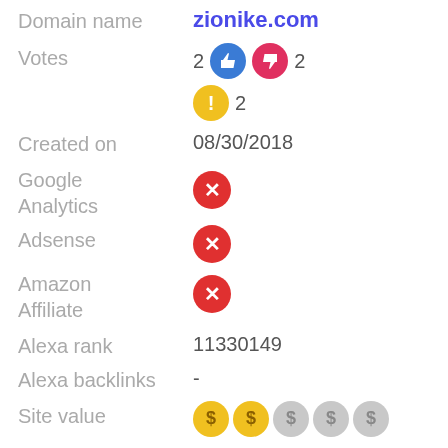| Field | Value |
| --- | --- |
| Domain name | zionike.com |
| Votes | 2 thumbs-up, 2 thumbs-down, 2 warning |
| Created on | 08/30/2018 |
| Google Analytics | (red X - not found) |
| Adsense | (red X - not found) |
| Amazon Affiliate | (red X - not found) |
| Alexa rank | 11330149 |
| Alexa backlinks | - |
| Site value | 2 of 5 dollar coins filled |
| Themes | stratusx-child
stratusx |
| Plugins | formidable
th-widget-pack
kirki
elementor |